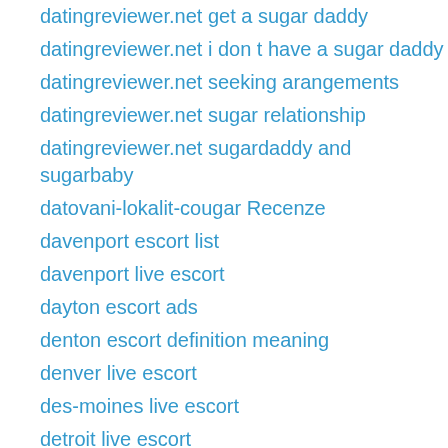datingreviewer.net get a sugar daddy
datingreviewer.net i don t have a sugar daddy
datingreviewer.net seeking arangements
datingreviewer.net sugar relationship
datingreviewer.net sugardaddy and sugarbaby
datovani-lokalit-cougar Recenze
davenport escort list
davenport live escort
dayton escort ads
denton escort definition meaning
denver live escort
des-moines live escort
detroit live escort